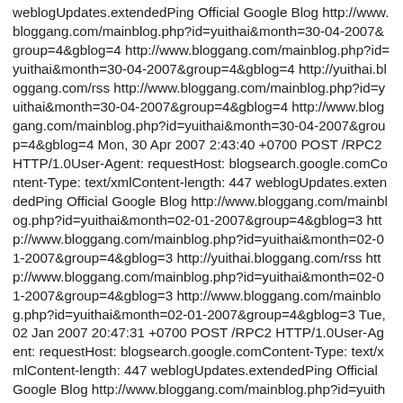weblogUpdates.extendedPing Official Google Blog http://www.bloggang.com/mainblog.php?id=yuithai&month=30-04-2007&group=4&gblog=4 http://www.bloggang.com/mainblog.php?id=yuithai&month=30-04-2007&group=4&gblog=4 http://yuithai.bloggang.com/rss http://www.bloggang.com/mainblog.php?id=yuithai&month=30-04-2007&group=4&gblog=4 http://www.bloggang.com/mainblog.php?id=yuithai&month=30-04-2007&group=4&gblog=4 Mon, 30 Apr 2007 2:43:40 +0700 POST /RPC2 HTTP/1.0User-Agent: requestHost: blogsearch.google.comContent-Type: text/xmlContent-length: 447 weblogUpdates.extendedPing Official Google Blog http://www.bloggang.com/mainblog.php?id=yuithai&month=02-01-2007&group=4&gblog=3 http://www.bloggang.com/mainblog.php?id=yuithai&month=02-01-2007&group=4&gblog=3 http://yuithai.bloggang.com/rss http://www.bloggang.com/mainblog.php?id=yuithai&month=02-01-2007&group=4&gblog=3 http://www.bloggang.com/mainblog.php?id=yuithai&month=02-01-2007&group=4&gblog=3 Tue, 02 Jan 2007 20:47:31 +0700 POST /RPC2 HTTP/1.0User-Agent: requestHost: blogsearch.google.comContent-Type: text/xmlContent-length: 447 weblogUpdates.extendedPing Official Google Blog http://www.bloggang.com/mainblog.php?id=yuithai&month=04-01-2007&group=4&gblog=2 http://www.bloggang.com/mainblog.php?id=yuithai&month=04